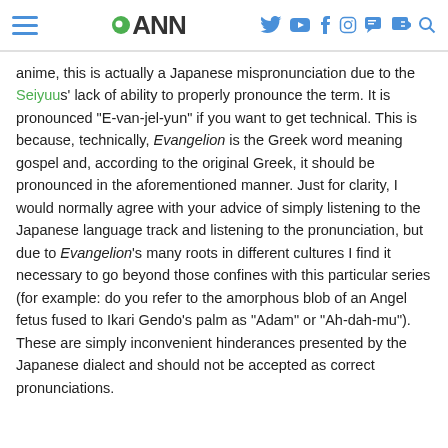ANN navigation header with hamburger menu, ANN logo, and social/action icons
anime, this is actually a Japanese mispronunciation due to the Seiyuus' lack of ability to properly pronounce the term. It is pronounced "E-van-jel-yun" if you want to get technical. This is because, technically, Evangelion is the Greek word meaning gospel and, according to the original Greek, it should be pronounced in the aforementioned manner. Just for clarity, I would normally agree with your advice of simply listening to the Japanese language track and listening to the pronunciation, but due to Evangelion's many roots in different cultures I find it necessary to go beyond those confines with this particular series (for example: do you refer to the amorphous blob of an Angel fetus fused to Ikari Gendo's palm as "Adam" or "Ah-dah-mu"). These are simply inconvenient hinderances presented by the Japanese dialect and should not be accepted as correct pronunciations.